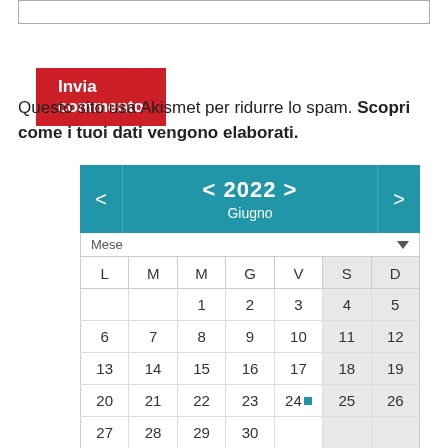Invia commento
Questo sito usa Akismet per ridurre lo spam. Scopri come i tuoi dati vengono elaborati.
[Figure (other): Calendar widget showing June 2022 with navigation arrows, month selector dropdown, and day grid. Days 1-30 displayed. Day 24 has a blue indicator dot. Weekends (S, D columns) are shaded grey.]